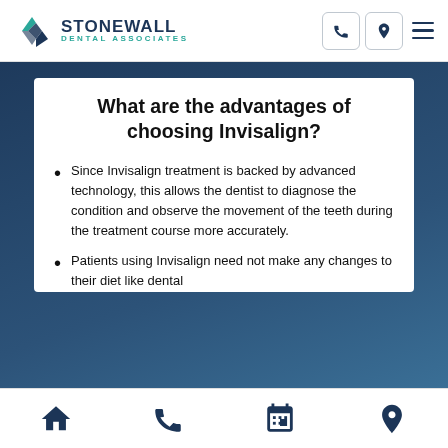Stonewall Dental Associates
What are the advantages of choosing Invisalign?
Since Invisalign treatment is backed by advanced technology, this allows the dentist to diagnose the condition and observe the movement of the teeth during the treatment course more accurately.
Patients using Invisalign need not make any changes to their diet like dental
Home | Phone | Calendar | Location